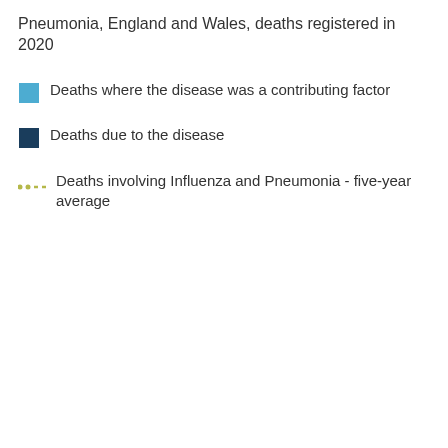Pneumonia, England and Wales, deaths registered in 2020
Deaths where the disease was a contributing factor
Deaths due to the disease
Deaths involving Influenza and Pneumonia - five-year average